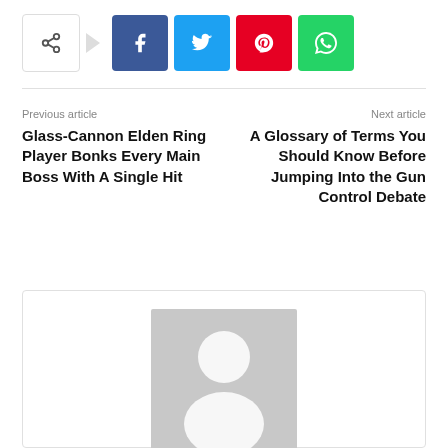[Figure (infographic): Social share buttons: share icon, Facebook (blue), Twitter (cyan), Pinterest (red), WhatsApp (green)]
Previous article
Glass-Cannon Elden Ring Player Bonks Every Main Boss With A Single Hit
Next article
A Glossary of Terms You Should Know Before Jumping Into the Gun Control Debate
[Figure (illustration): Generic user avatar placeholder — grey silhouette on grey background]
Wccftech.com